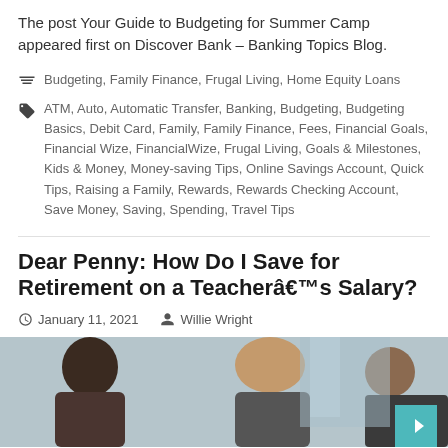The post Your Guide to Budgeting for Summer Camp appeared first on Discover Bank – Banking Topics Blog.
Budgeting, Family Finance, Frugal Living, Home Equity Loans
ATM, Auto, Automatic Transfer, Banking, Budgeting, Budgeting Basics, Debit Card, Family, Family Finance, Fees, Financial Goals, Financial Wize, FinancialWize, Frugal Living, Goals & Milestones, Kids & Money, Money-saving Tips, Online Savings Account, Quick Tips, Raising a Family, Rewards, Rewards Checking Account, Save Money, Saving, Spending, Travel Tips
Dear Penny: How Do I Save for Retirement on a Teacherâs Salary?
January 11, 2021  Willie Wright
[Figure (photo): Photo of two women sitting together, appears to be in a professional or educational setting]